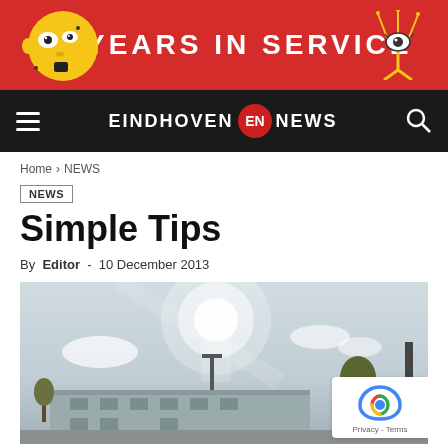[Figure (illustration): Red banner with illustrated face on left, stylized eye on right, bold white text '12 YEARS IN SERVICE' in center on red background]
EINDHOVEN NEWS
Home › NEWS
NEWS
Simple Tips
By Editor - 10 December 2013
[Figure (photo): Outdoor photo showing a building exterior with bright sun glare in sky, trees, and a parking lot light pole]